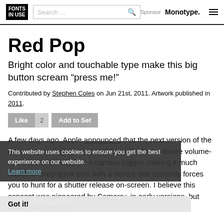FONTS IN USE | Search ... | Sponsor Monotype.
Red Pop
Bright color and touchable type make this big button scream "press me!"
Contributed by Stephen Coles on Jun 21st, 2011. Artwork published in 2011.
Like 2 | Add to Set
A few days ago, Apple announced that the next version of the iPhone operating system would enable the hardware volume-up button to be used as a camera trigger, making it much easier to snap quick pics with a device that currently forces you to hunt for a shutter release on-screen. I believe this concept was pioneered by Camera+ in early versions, but Apple disabled the
This website uses cookies to ensure you get the best experience on our website. Learn more
Got it!